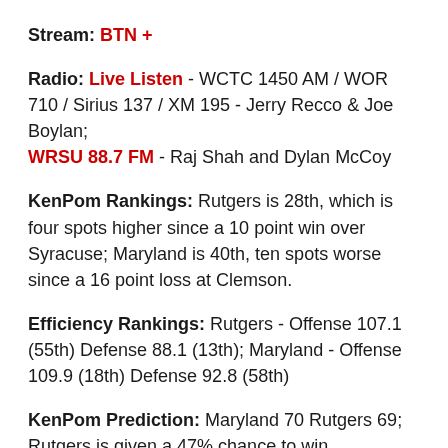Stream: BTN +
Radio: Live Listen - WCTC 1450 AM / WOR 710 / Sirius 137 / XM 195 - Jerry Recco & Joe Boylan; WRSU 88.7 FM - Raj Shah and Dylan McCoy
KenPom Rankings: Rutgers is 28th, which is four spots higher since a 10 point win over Syracuse; Maryland is 40th, ten spots worse since a 16 point loss at Clemson.
Efficiency Rankings: Rutgers - Offense 107.1 (55th) Defense 88.1 (13th); Maryland - Offense 109.9 (18th) Defense 92.8 (58th)
KenPom Prediction: Maryland 70 Rutgers 69; Rutgers is given a 47% chance to win.